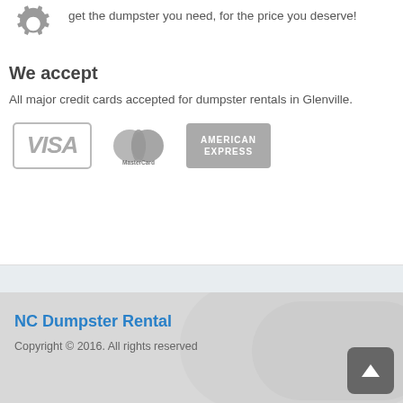get the dumpster you need, for the price you deserve!
We accept
All major credit cards accepted for dumpster rentals in Glenville.
[Figure (logo): Payment method logos: VISA, MasterCard, American Express — displayed in gray]
NC Dumpster Rental
Copyright © 2016. All rights reserved